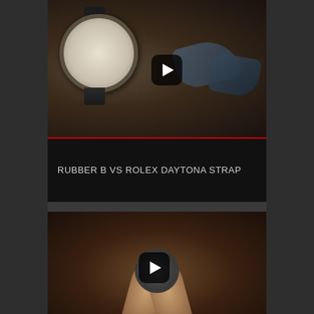[Figure (screenshot): Video thumbnail showing a Rolex Daytona watch with rubber strap on a wooden surface, with leather strap pieces in the background. A play button is overlaid in the center.]
RUBBER B VS ROLEX DAYTONA STRAP
[Figure (screenshot): Video thumbnail showing hands holding a Rolex Daytona watch during strap installation. A play button is overlaid in the center.]